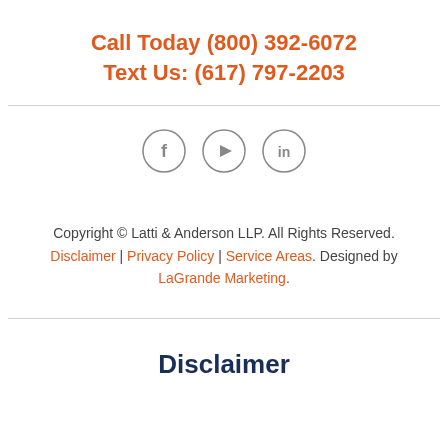Call Today (800) 392-6072
Text Us: (617) 797-2203
[Figure (illustration): Three social media icons in circles: Facebook (f), YouTube (play button), LinkedIn (in)]
Copyright © Latti & Anderson LLP. All Rights Reserved. Disclaimer | Privacy Policy | Service Areas. Designed by LaGrande Marketing.
Disclaimer